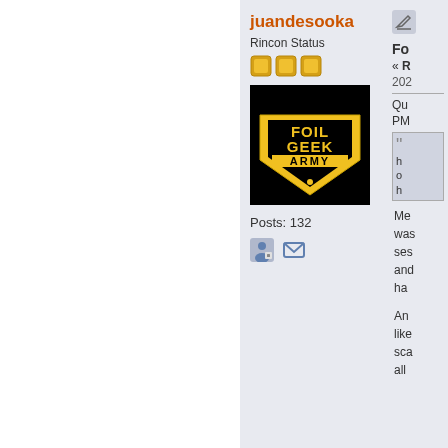juandesooka
Rincon Status
[Figure (logo): Foil Geek Army logo - black background with yellow diamond shield shape containing text FOIL GEEK ARMY]
Posts: 132
Fo
« R
202
Qu
PM
Me was ses and ha
An like sca all